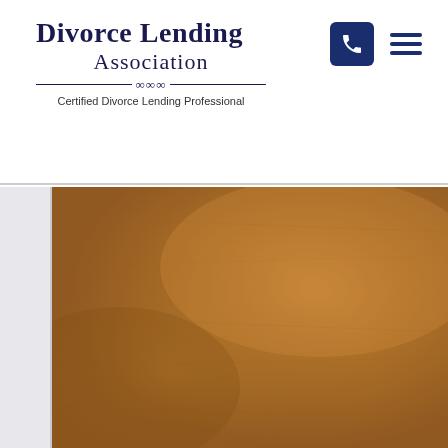Divorce Lending Association — Certified Divorce Lending Professional
[Figure (photo): Brown leather texture background image filling the lower portion of the page, with a light gray/white left sidebar panel]